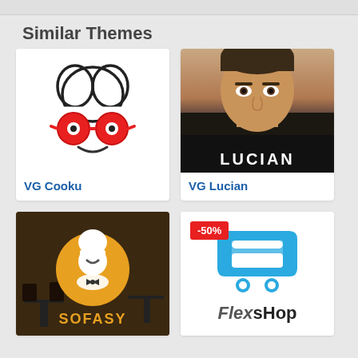Similar Themes
[Figure (logo): VG Cooku logo: chef hat with red glasses and smile]
VG Cooku
[Figure (photo): VG Lucian: fashion photo of young man with LUCIAN text overlay]
VG Lucian
[Figure (logo): Sofasy theme: dark restaurant background with golden chef character logo and SOFASY text]
[Figure (logo): FlexShop theme: blue shopping cart icon with -50% badge and FlexSHOP text]